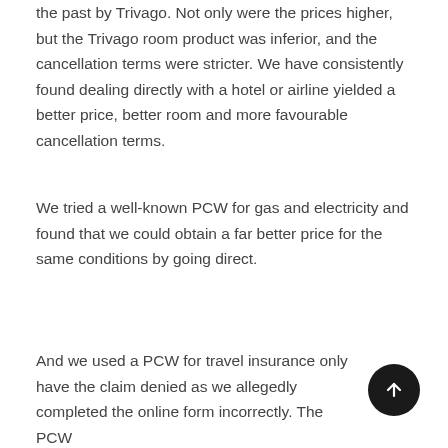the past by Trivago. Not only were the prices higher, but the Trivago room product was inferior, and the cancellation terms were stricter. We have consistently found dealing directly with a hotel or airline yielded a better price, better room and more favourable cancellation terms.
We tried a well-known PCW for gas and electricity and found that we could obtain a far better price for the same conditions by going direct.
And we used a PCW for travel insurance only have the claim denied as we allegedly completed the online form incorrectly. The PCW